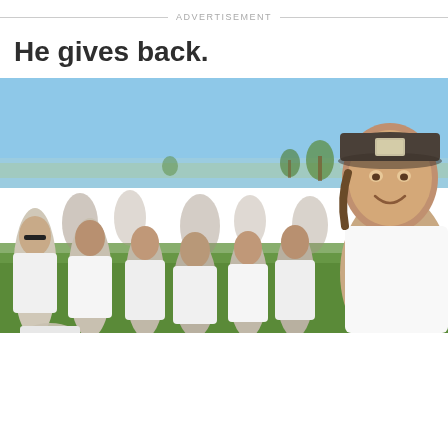ADVERTISEMENT
He gives back.
[Figure (photo): A smiling man wearing a dark baseball cap with a patch logo, standing among a group of young people in white t-shirts on an outdoor sports field. Palm trees and a blue sky are visible in the background. The man appears to be a celebrity at a charitable community event.]